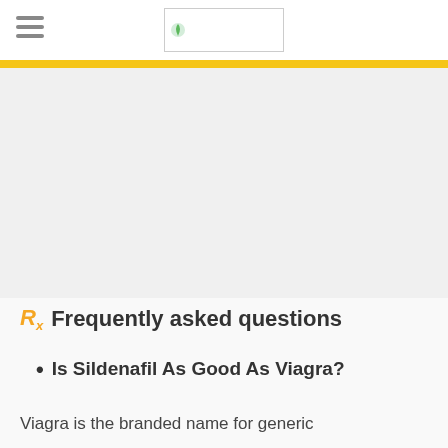[hamburger menu icon] [logo image]
Rx Frequently asked questions
Is Sildenafil As Good As Viagra?
Viagra is the branded name for generic